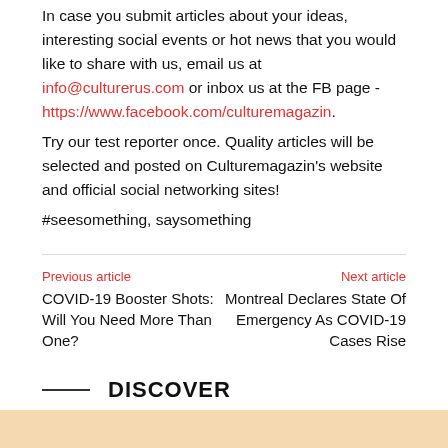In case you submit articles about your ideas, interesting social events or hot news that you would like to share with us, email us at info@culturerus.com or inbox us at the FB page - https://www.facebook.com/culturemagazin. Try our test reporter once. Quality articles will be selected and posted on Culturemagazin's website and official social networking sites!
#seesomething, saysomething
Previous article
COVID-19 Booster Shots: Will You Need More Than One?
Next article
Montreal Declares State Of Emergency As COVID-19 Cases Rise
DISCOVER